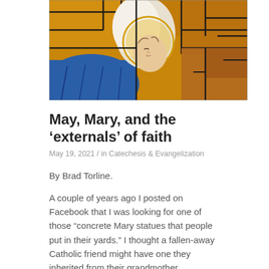[Figure (photo): Stained glass artwork depicting the Virgin Mary holding the infant Jesus, with golden and blue hues and dark leading between glass segments.]
May, Mary, and the ‘externals’ of faith
May 19, 2021 / in Catechesis & Evangelization
By Brad Torline.
A couple of years ago I posted on Facebook that I was looking for one of those “concrete Mary statues that people put in their yards.” I thought a fallen-away Catholic friend might have one they inherited from their grandmother.
Much to my surprise I ended up with one that had been in my family for at least 70 years.
When I asked about the somewhat comical paint job I found out that the statue had stood for a long time near my great-great aunt’s barn and that my grandpa had been encouraged to paint it several times as a child. I took it home, sanded it down and, following in my grandpa’s footsteps, I painted it — this time white.